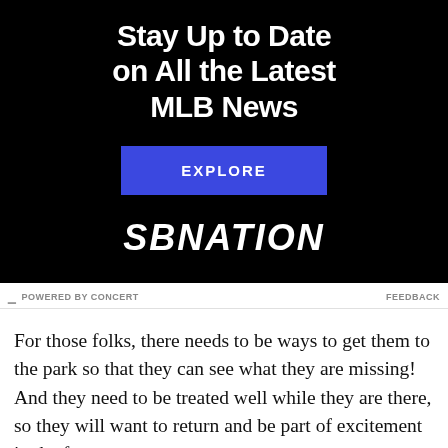[Figure (infographic): SBNation advertisement with black background, bold white title 'Stay Up to Date on All the Latest MLB News', blue EXPLORE button, and SBNATION logo]
POWERED BY CONCERT    FEEDBACK
For those folks, there needs to be ways to get them to the park so that they can see what they are missing! And they need to be treated well while they are there, so they will want to return and be part of excitement in the future.